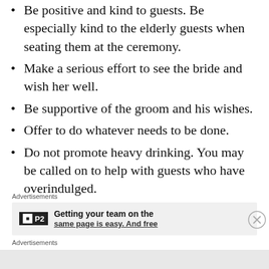Be positive and kind to guests. Be especially kind to the elderly guests when seating them at the ceremony.
Make a serious effort to see the bride and wish her well.
Be supportive of the groom and his wishes.
Offer to do whatever needs to be done.
Do not promote heavy drinking. You may be called on to help with guests who have overindulged.
Advertisements
P2  Getting your team on the same page is easy. And free
Advertisements